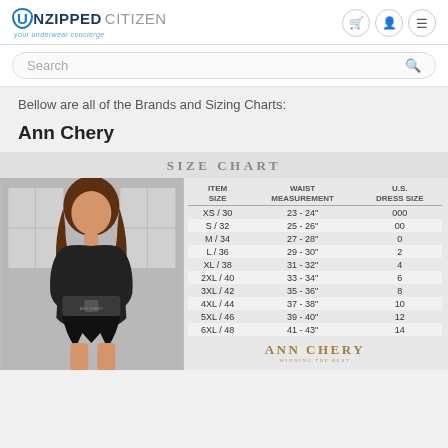UNZIPPED CITIZEN your underwear concierge
Search
Bellow are all of the Brands and Sizing Charts:
Ann Chery
[Figure (table-as-image): Ann Chery size chart showing a model wearing a black waist trainer, with a table showing Item Size, Waist Measurement, and U.S. Dress Size for XS/30 through 6XL/48]
| ITEM SIZE | WAIST MEASUREMENT | U.S. DRESS SIZE |
| --- | --- | --- |
| XS / 30 | 23 - 24" | 000 |
| S / 32 | 25 - 26" | 00 |
| M / 34 | 27 - 28" | 0 |
| L / 36 | 29 - 30" | 2 |
| XL / 38 | 31 - 32" | 4 |
| 2XL / 40 | 33 - 34" | 6 |
| 3XL / 42 | 35 - 36" | 8 |
| 4XL / 44 | 37 - 38" | 10 |
| 5XL / 46 | 39 - 40" | 12 |
| 6XL / 48 | 41 - 43" | 14 |